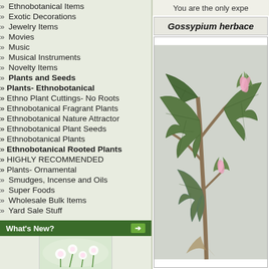» Ethnobotanical Items
» Exotic Decorations
» Jewelry Items
» Movies
» Music
» Musical Instruments
» Novelty Items
» Plants and Seeds
» Plants- Ethnobotanical
» Ethno Plant Cuttings- No Roots
» Ethnobotanical Fragrant Plants
» Ethnobotanical Nature Attractor
» Ethnobotanical Plant Seeds
» Ethnobotanical Plants
» Ethnobotanical Rooted Plants
» HIGHLY RECOMMENDED
» Plants- Ornamental
» Smudges, Incense and Oils
» Super Foods
» Wholesale Bulk Items
» Yard Sale Stuff
What's New?
[Figure (photo): Flower photo thumbnail in What's New section]
You are the only expe...
Gossypium herbace...
[Figure (photo): Photo of Gossypium herbaceum plant with large green leaves and pink flower buds on branches]